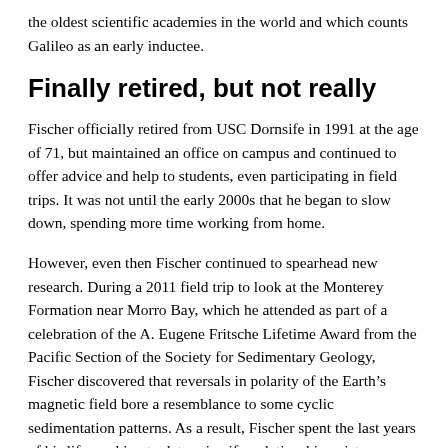the oldest scientific academies in the world and which counts Galileo as an early inductee.
Finally retired, but not really
Fischer officially retired from USC Dornsife in 1991 at the age of 71, but maintained an office on campus and continued to offer advice and help to students, even participating in field trips. It was not until the early 2000s that he began to slow down, spending more time working from home.
However, even then Fischer continued to spearhead new research. During a 2011 field trip to look at the Monterey Formation near Morro Bay, which he attended as part of a celebration of the A. Eugene Fritsche Lifetime Award from the Pacific Section of the Society for Sedimentary Geology, Fischer discovered that reversals in polarity of the Earth’s magnetic field bore a resemblance to some cyclic sedimentation patterns. As a result, Fischer spent the last years of his life working to determine if a relationship exists between the cycles in sedimentation and the changes in polarity in the Earth’s field and